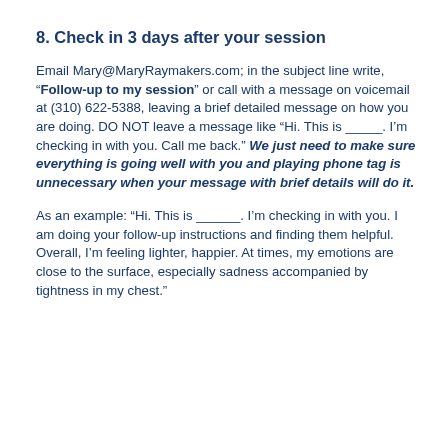8. Check in 3 days after your session
Email Mary@MaryRaymakers.com; in the subject line write, “Follow-up to my session” or call with a message on voicemail at (310) 622-5388, leaving a brief detailed message on how you are doing. DO NOT leave a message like “Hi. This is _____. I’m checking in with you. Call me back.” We just need to make sure everything is going well with you and playing phone tag is unnecessary when your message with brief details will do it.
As an example: “Hi. This is ______. I’m checking in with you. I am doing your follow-up instructions and finding them helpful. Overall, I’m feeling lighter, happier. At times, my emotions are close to the surface, especially sadness accompanied by tightness in my chest.”